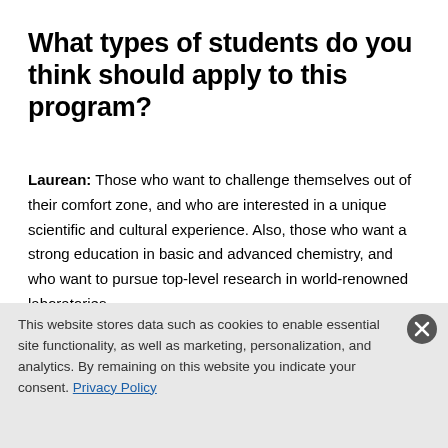What types of students do you think should apply to this program?
Laurean: Those who want to challenge themselves out of their comfort zone, and who are interested in a unique scientific and cultural experience. Also, those who want a strong education in basic and advanced chemistry, and who want to pursue top-level research in world-renowned laboratories.
[Figure (photo): Partial view of a laboratory interior, light-toned with white ceiling and equipment visible]
This website stores data such as cookies to enable essential site functionality, as well as marketing, personalization, and analytics. By remaining on this website you indicate your consent. Privacy Policy